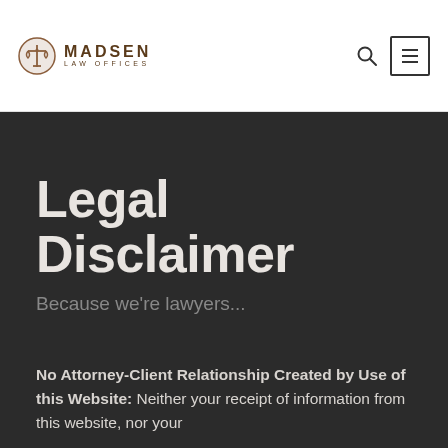Madsen Law Offices
Legal Disclaimer
Because we're lawyers...
No Attorney-Client Relationship Created by Use of this Website: Neither your receipt of information from this website, nor your